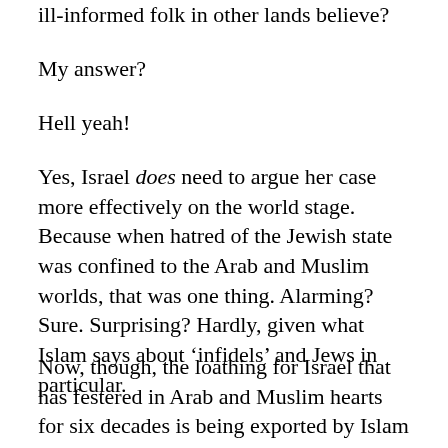ill-informed folk in other lands believe?
My answer?
Hell yeah!
Yes, Israel does need to argue her case more effectively on the world stage. Because when hatred of the Jewish state was confined to the Arab and Muslim worlds, that was one thing. Alarming? Sure. Surprising? Hardly, given what Islam says about ‘infidels’ and Jews in particular.
Now, though, the loathing for Israel that has festered in Arab and Muslim hearts for six decades is being exported by Islam as it goes marching unfettered through Europe